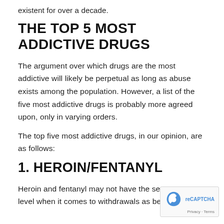existent for over a decade.
THE TOP 5 MOST ADDICTIVE DRUGS
The argument over which drugs are the most addictive will likely be perpetual as long as abuse exists among the population. However, a list of the five most addictive drugs is probably more agreed upon, only in varying orders.
The top five most addictive drugs, in our opinion, are as follows:
1. HEROIN/FENTANYL
Heroin and fentanyl may not have the seve level when it comes to withdrawals as benzos,